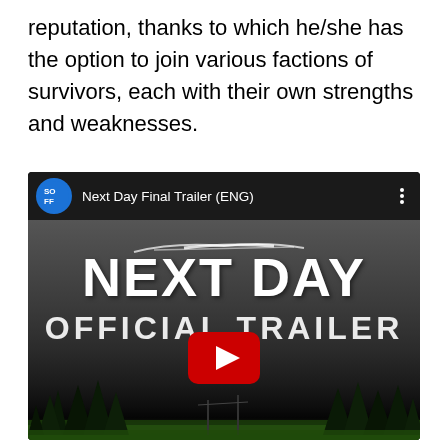reputation, thanks to which he/she has the option to join various factions of survivors, each with their own strengths and weaknesses.
[Figure (screenshot): YouTube video embed showing 'Next Day Final Trailer (ENG)' with SOFF channel icon, thumbnail showing 'NEXT DAY OFFICIAL TRAILER' text over dark post-apocalyptic forest scene with red YouTube play button]